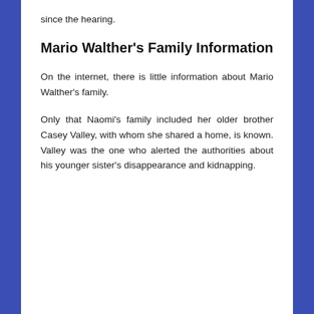since the hearing.
Mario Walther's Family Information
On the internet, there is little information about Mario Walther's family.
Only that Naomi's family included her older brother Casey Valley, with whom she shared a home, is known. Valley was the one who alerted the authorities about his younger sister's disappearance and kidnapping.